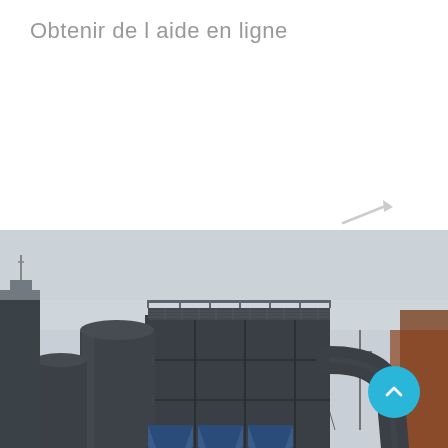Obtenir de l aide en ligne
[Figure (photo): Industrial facility with large dust collector / baghouse filter units, cylindrical silos, metal ductwork and pipes, steel walkway grating on top, power lines and electrical substation in background, overcast sky. Scene appears to be a steelworks or heavy industrial plant.]